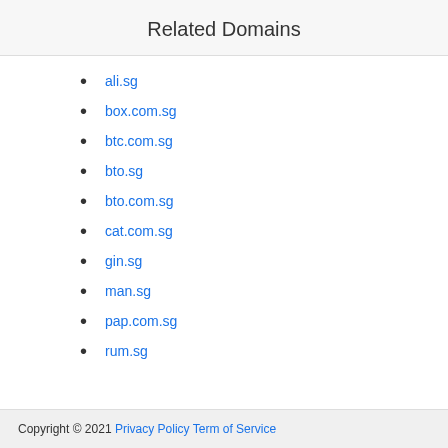Related Domains
ali.sg
box.com.sg
btc.com.sg
bto.sg
bto.com.sg
cat.com.sg
gin.sg
man.sg
pap.com.sg
rum.sg
Copyright © 2021 Privacy Policy Term of Service